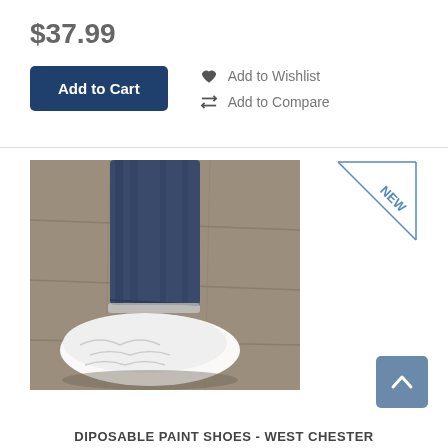$37.99
Add to Cart
Add to Wishlist
Add to Compare
[Figure (photo): A foot wearing a white disposable paint shoe cover over jeans, photographed on a stone floor background.]
[Figure (other): NEW badge triangle in top right corner]
DIPOSABLE PAINT SHOES - WEST CHESTER